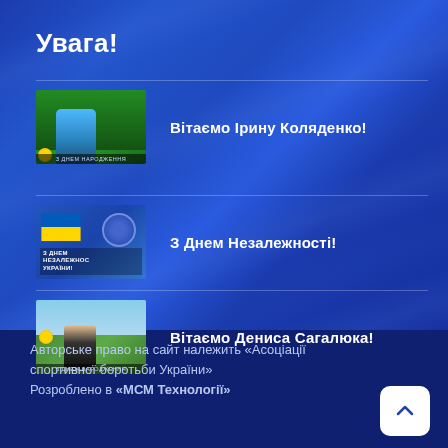Увага!
Вітаємо Ірину Коляденко!
З Днем Незалежності!
Вітаємо Дениса Сагалюка!
Авторське право на сайт належить «Асоціації спортивної боротьби України»
Розроблено в «МСМ Технології»